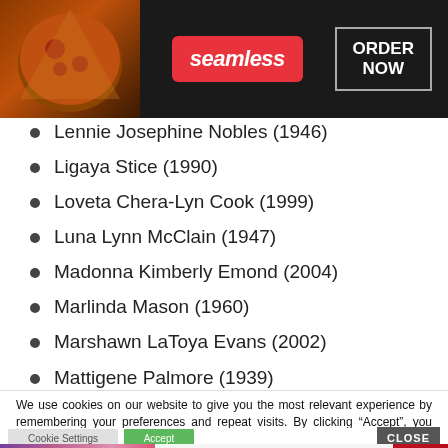[Figure (other): Seamless food delivery advertisement banner with pizza image, Seamless red logo, and ORDER NOW button]
Lennie Josephine Nobles (1946)
Ligaya Stice (1990)
Loveta Chera-Lyn Cook (1999)
Luna Lynn McClain (1947)
Madonna Kimberly Emond (2004)
Marlinda Mason (1960)
Marshawn LaToya Evans (2002)
Mattigene Palmore (1939)
We use cookies on our website to give you the most relevant experience by remembering your preferences and repeat visits. By clicking “Accept”, you consent to the use of ALL the cookies.
Do not sell my personal information.
[Figure (other): MAC cosmetics advertisement banner with lipsticks and SHOP NOW button]